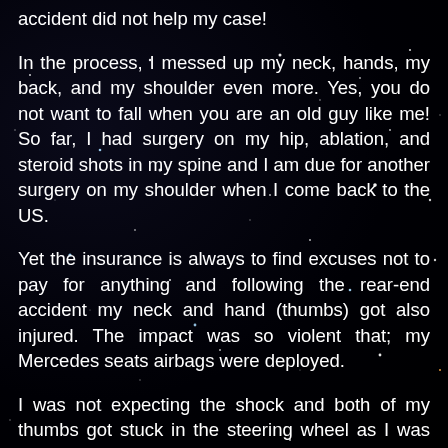accident did not help my case!
In the process, I messed up my neck, hands, my back, and my shoulder even more. Yes, you do not want to fall when you are an old guy like me! So far, I had surgery on my hip, ablation, and steroid shots in my spine and I am due for another surgery on my shoulder when I come back to the US.
Yet the insurance is always to find excuses not to pay for anything and following the rear-end accident my neck and hand (thumbs) got also injured. The impact was so violent that; my Mercedes seats airbags were deployed.
I was not expecting the shock and both of my thumbs got stuck in the steering wheel as I was pushed forward to it. Since then I have been complaining about tinnitus and a new bump on my neck. I got an